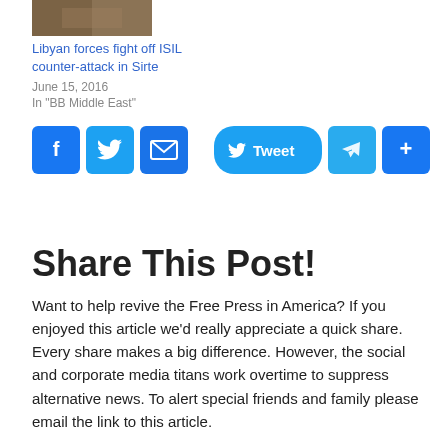[Figure (photo): Small thumbnail photo of a news article about Libyan forces]
Libyan forces fight off ISIL counter-attack in Sirte
June 15, 2016
In "BB Middle East"
[Figure (infographic): Social share buttons: Facebook, Twitter, Email on left; Tweet button, Telegram, Share+ on right]
Share This Post!
Want to help revive the Free Press in America? If you enjoyed this article we'd really appreciate a quick share. Every share makes a big difference. However, the social and corporate media titans work overtime to suppress alternative news. To alert special friends and family please email the link to this article.